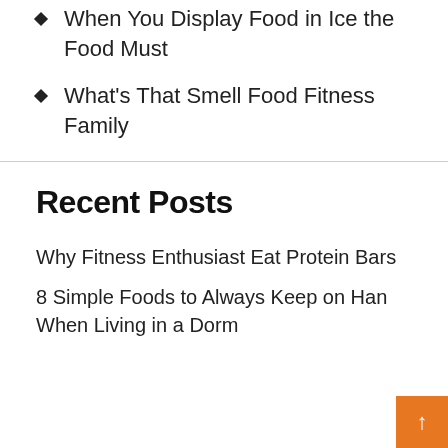When You Display Food in Ice the Food Must
What’s That Smell Food Fitness Family
Recent Posts
Why Fitness Enthusiast Eat Protein Bars
8 Simple Foods to Always Keep on Hand When Living in a Dorm